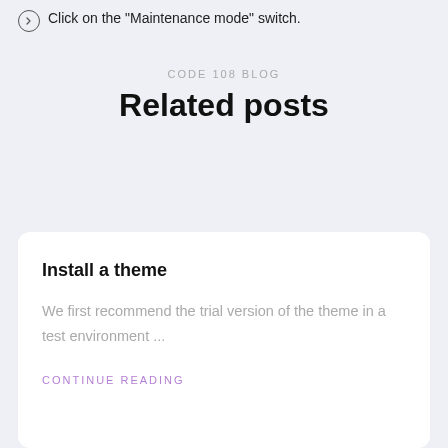Click on the "Maintenance mode" switch.
CODE 108 BLOG
Related posts
Install a theme
We first recommend the trial version of the theme in a test environment ...
CONTINUE READING